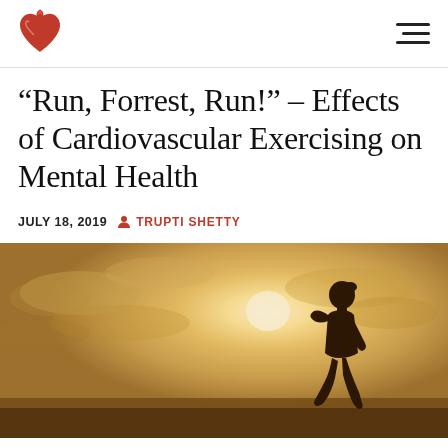American Heart Association logo and navigation menu
“Run, Forrest, Run!” – Effects of Cardiovascular Exercising on Mental Health
JULY 18, 2019   TRUPTI SHETTY
[Figure (photo): Silhouette of a person running against a bright sunlit sky with clouds, warm golden tones]